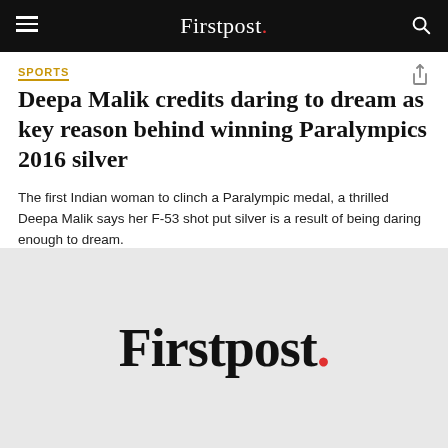Firstpost.
SPORTS
Deepa Malik credits daring to dream as key reason behind winning Paralympics 2016 silver
The first Indian woman to clinch a Paralympic medal, a thrilled Deepa Malik says her F-53 shot put silver is a result of being daring enough to dream.
[Figure (logo): Firstpost logo in large black bold serif font with a red period at the end, on a light grey background]